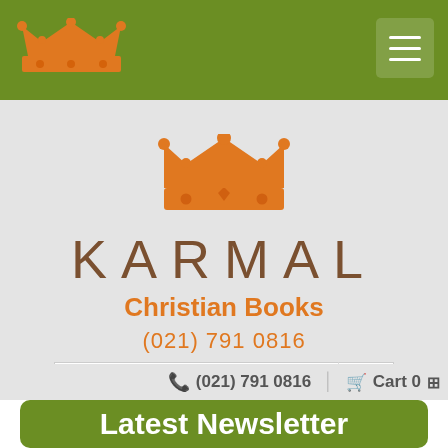Karmal Christian Books navigation bar with logo and hamburger menu
[Figure (logo): Orange crown logo for Karmal Christian Books]
KARMAL
Christian Books
(021) 791 0816
Search Stock
(021) 791 0816   Cart  0
Latest Newsletter